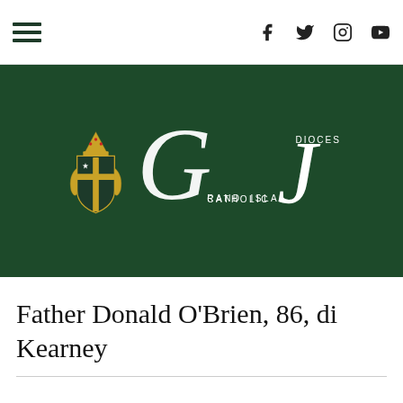Navigation bar with hamburger menu and social media icons (Facebook, Twitter, Instagram, YouTube)
[Figure (logo): Catholic Diocese of Grand Island logo on dark green background — bishop's crest shield with cross and star, beside large italic G and J letters with text 'CATHOLIC DIOCESE' and 'GRAND ISLAND']
Father Donald O'Brien, 86, di Kearney